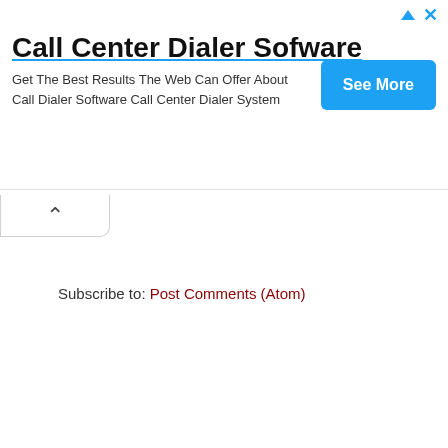[Figure (screenshot): Advertisement banner for Call Center Dialer Software with See More button and close/ad icons]
Call Center Dialer Sofware
Get The Best Results The Web Can Offer About Call Dialer Software Call Center Dialer System
Subscribe to: Post Comments (Atom)